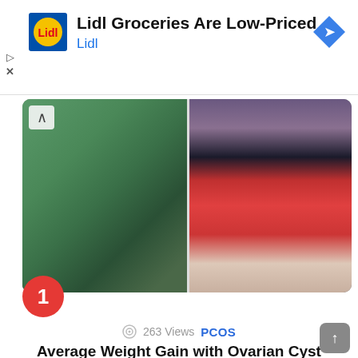[Figure (other): Lidl advertisement banner with Lidl logo, text 'Lidl Groceries Are Low-Priced' and 'Lidl', and blue navigation arrow icon]
[Figure (photo): Before and after weight loss photo: left side shows person in green shirt (overweight), right side shows person in red dress (slimmer)]
263 Views  PCOS
Average Weight Gain with Ovarian Cyst
The average weight gain with ovarian cysts can be estimated by the number of cysts, the size of the cysts, and the duration of the cysts. In women with a diagnosis of PCOS (polycystic ovarian syndrome), there needs to be a